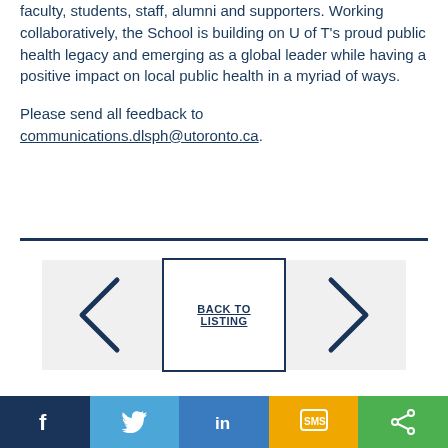faculty, students, staff, alumni and supporters. Working collaboratively, the School is building on U of T's proud public health legacy and emerging as a global leader while having a positive impact on local public health in a myriad of ways.
Please send all feedback to communications.dlsph@utoronto.ca.
[Figure (infographic): Navigation buttons: left arrow, BACK TO LISTING center button, right arrow]
[Figure (infographic): Social media sharing bar with Facebook, Twitter, LinkedIn, SMS, and share icons]